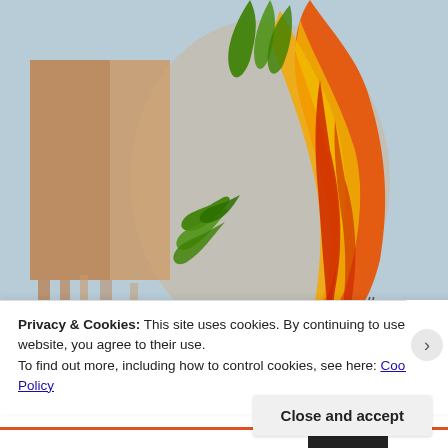[Figure (illustration): A painting of a colorful bird or phoenix figure with orange, red, yellow and green feathers/flames against a light blue-gray background, with a brown rectangular shape on the left side. A signature is visible in the lower right area of the painting.]
Privacy & Cookies: This site uses cookies. By continuing to use this website, you agree to their use.
To find out more, including how to control cookies, see here: Cookie Policy
Close and accept